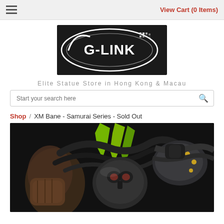≡  View Cart (0 Items)
[Figure (logo): G-LINK logo on black background — white oval with stylized G-LINK text and pixel/dot graphic]
Elite Statue Store in Hong Kong & Macau
Start your search here
Shop / XM Bane - Samurai Series - Sold Out
[Figure (photo): Close-up photo of XM Studios Bane Samurai Series statue showing masked face, muscular arms, green Venom tubes, black hoses and metallic samurai armor details on dark background]